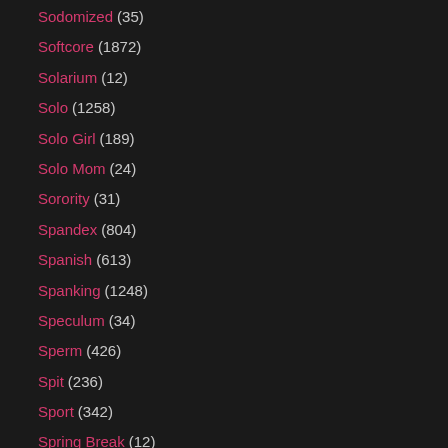Sodomized (35)
Softcore (1872)
Solarium (12)
Solo (1258)
Solo Girl (189)
Solo Mom (24)
Sorority (31)
Spandex (804)
Spanish (613)
Spanking (1248)
Speculum (34)
Sperm (426)
Spit (236)
Sport (342)
Spring Break (12)